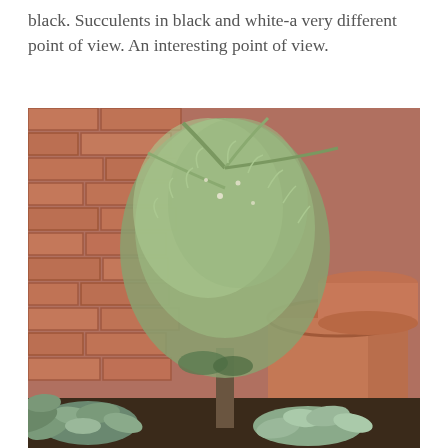black. Succulents in black and white-a very different point of view. An interesting point of view.
[Figure (photo): A large bushy silvery-green plant (possibly lavender or artemisia) in a terracotta pot against a red brick wall, with succulent plants visible at the base.]